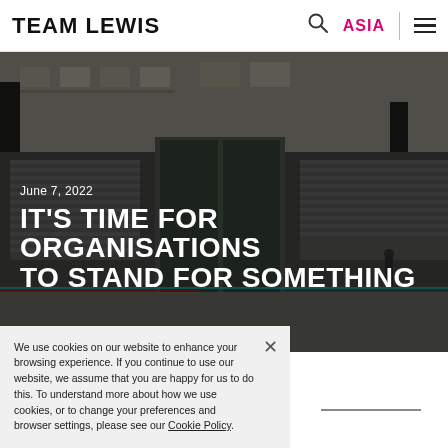TEAM LEWIS | ASIA
[Figure (photo): Street scene with closed storefronts and shuttered rolling doors, dark urban atmosphere, person visible in background]
June 7, 2022
IT'S TIME FOR ORGANISATIONS TO STAND FOR SOMETHING
We use cookies on our website to enhance your browsing experience. If you continue to use our website, we assume that you are happy for us to do this. To understand more about how we use cookies, or to change your preferences and browser settings, please see our Cookie Policy.